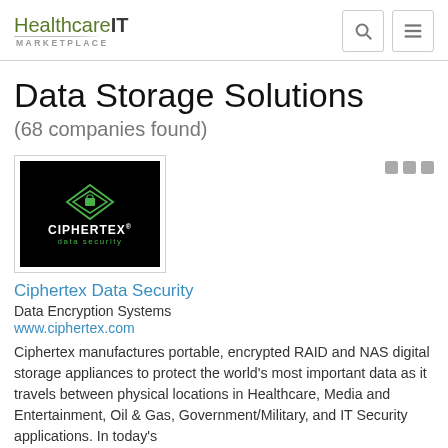Healthcare IT MARKETPLACE
Data Storage Solutions
(68 companies found)
[Figure (logo): Ciphertex Data Security logo — white diamond/lock icon and company name on black background]
Ciphertex Data Security
Data Encryption Systems
www.ciphertex.com
Ciphertex manufactures portable, encrypted RAID and NAS digital storage appliances to protect the world's most important data as it travels between physical locations in Healthcare, Media and Entertainment, Oil & Gas, Government/Military, and IT Security applications. In today's